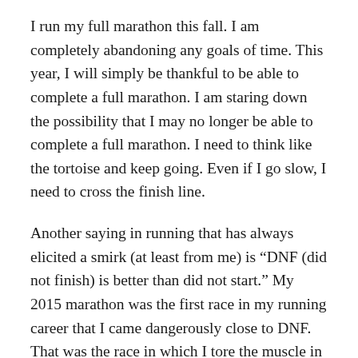I run my full marathon this fall. I am completely abandoning any goals of time. This year, I will simply be thankful to be able to complete a full marathon. I am staring down the possibility that I may no longer be able to complete a full marathon. I need to think like the tortoise and keep going. Even if I go slow, I need to cross the finish line.
Another saying in running that has always elicited a smirk (at least from me) is “DNF (did not finish) is better than did not start.” My 2015 marathon was the first race in my running career that I came dangerously close to DNF. That was the race in which I tore the muscle in my hip around mile 18. I finished, but it was slow and involved incredible pain. It was the first time I needed wheelchair medical assistance when coming across the finish line.